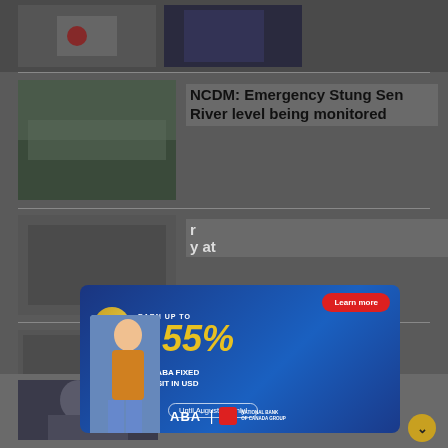[Figure (photo): Top strip with two thumbnail images on dark background]
NCDM: Emergency Stung Sen River level being monitored
[Figure (photo): Road/landscape thumbnail image]
[Figure (photo): Partially visible news item thumbnail]
[Figure (photo): ABA Bank advertisement - Earn up to 5.55% with ABA Fixed Deposit in USD. Until August 31 only! Learn more. National Bank of Canada Group.]
'Utter dismay' over rapporteur's report
[Figure (photo): Person thumbnail image at bottom]